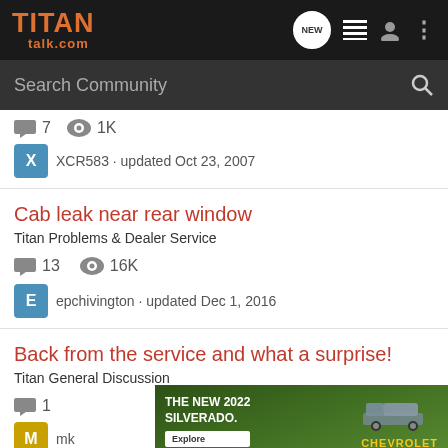TITAN talk.com
Search Community
7  1K  XCR583 · updated Oct 23, 2007
Cab leak near rear window
Titan Problems & Dealer Service
13  16K
epchivington · updated Dec 1, 2016
Back from the service and what a surprise!
Titan General Discussion
1
mk
[Figure (screenshot): Chevrolet advertisement banner showing The New 2022 Silverado with an Explore button and Chevrolet logo on a green background]